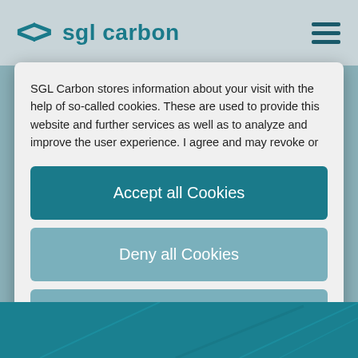[Figure (logo): SGL Carbon logo with angular bracket icon and company name in teal]
SGL Carbon stores information about your visit with the help of so-called cookies. These are used to provide this website and further services as well as to analyze and improve the user experience. I agree and may revoke or change my consent at any time with effect for the future.
Accept all Cookies
Deny all Cookies
Configure settings
Powered by usercentrics
Imprint | Data Privacy